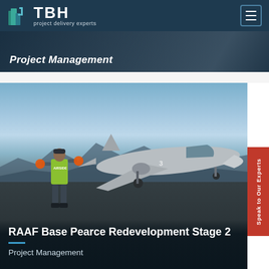[Figure (screenshot): TBH project delivery experts website navigation header with logo and hamburger menu button on dark navy background]
[Figure (photo): Partial view of a card showing 'Project Management' label over a dark outdoor photo, partially cropped at top]
[Figure (photo): Military jet aircraft (FA-18 Hornet) on runway at RAAF Base Pearce with airside worker in high-vis vest and orange batons, mountains in background]
RAAF Base Pearce Redevelopment Stage 2
Project Management
Speak to Our Experts